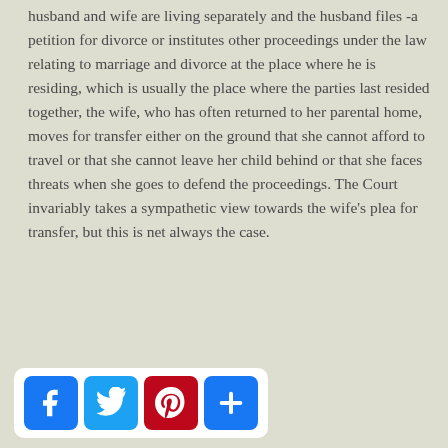husband and wife are living separately and the husband files -a petition for divorce or institutes other proceedings under the law relating to marriage and divorce at the place where he is residing, which is usually the place where the parties last resided together, the wife, who has often returned to her parental home, moves for transfer either on the ground that she cannot afford to travel or that she cannot leave her child behind or that she faces threats when she goes to defend the proceedings. The Court invariably takes a sympathetic view towards the wife's plea for transfer, but this is net always the case.
[Figure (other): Social sharing buttons: Facebook, Twitter, Pinterest, and a plus/share button]